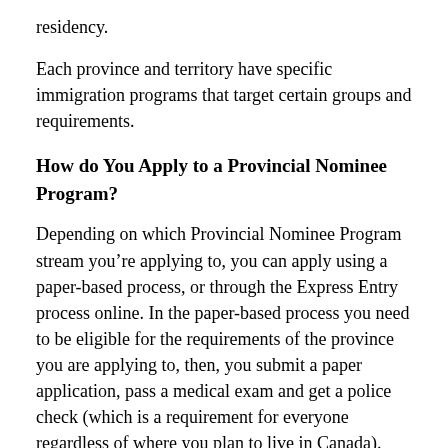residency.
Each province and territory have specific immigration programs that target certain groups and requirements.
How do You Apply to a Provincial Nominee Program?
Depending on which Provincial Nominee Program stream you’re applying to, you can apply using a paper-based process, or through the Express Entry process online. In the paper-based process you need to be eligible for the requirements of the province you are applying to, then, you submit a paper application, pass a medical exam and get a police check (which is a requirement for everyone regardless of where you plan to live in Canada).
Paper-based process takes longer than Express Entry. In the Express Entry process you can either contact